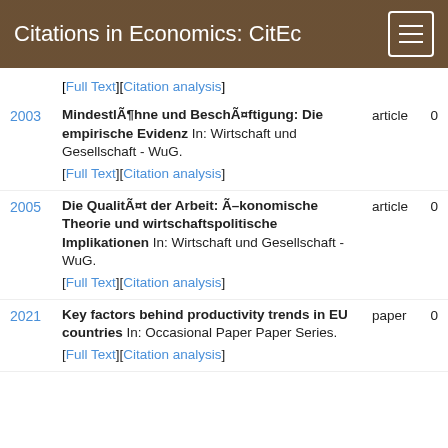Citations in Economics: CitEc
[Full Text][Citation analysis]
2003 | MindestlÃ¶hne und BeschÃ¤ftigung: Die empirische Evidenz In: Wirtschaft und Gesellschaft - WuG. | article | 0 | [Full Text][Citation analysis]
2005 | Die QualitÃ¤t der Arbeit: Ã–konomische Theorie und wirtschaftspolitische Implikationen In: Wirtschaft und Gesellschaft - WuG. | article | 0 | [Full Text][Citation analysis]
2021 | Key factors behind productivity trends in EU countries In: Occasional Paper Paper Series. | paper | 0 | [Full Text][Citation analysis]